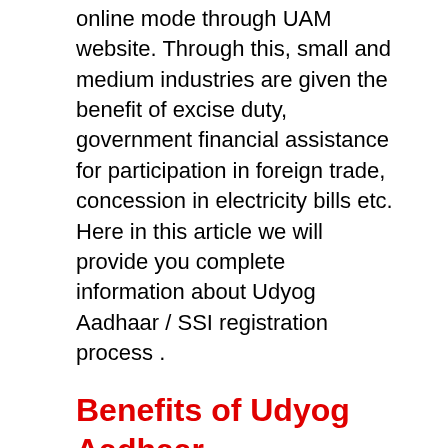online mode through UAM website. Through this, small and medium industries are given the benefit of excise duty, government financial assistance for participation in foreign trade, concession in electricity bills etc. Here in this article we will provide you complete information about Udyog Aadhaar / SSI registration process .
Benefits of Udyog Aadhaar Registration
Applicants with industry base will get:-
Excise Exemption
Under direct tax laws, exemption will be given
Fee reduction of patents and trademarks
credit guarantee scheme